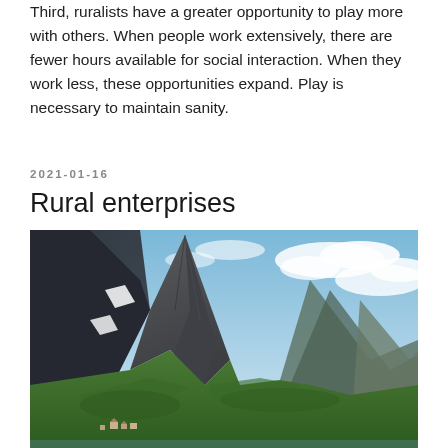Third, ruralists have a greater opportunity to play more with others. When people work extensively, there are fewer hours available for social interaction. When they work less, these opportunities expand. Play is necessary to maintain sanity.
2021-01-16
Rural enterprises
[Figure (photo): Photograph of a dramatic rocky mountain peak with green vegetation on its slopes, surrounded by smaller mountains in the background under a partly cloudy blue sky. Small buildings visible at the base of the mountain.]